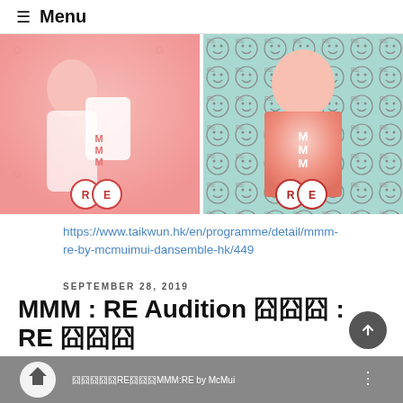≡ Menu
[Figure (photo): Two side-by-side fashion photos showing models wearing pink/coral MMM:RE branded clothing against a smiley-face patterned background. Both images show RE logo circles at the bottom.]
https://www.taikwun.hk/en/programme/detail/mmm-re-by-mcmuimui-dansemble-hk/449
SEPTEMBER 28, 2019
MMM : RE Audition 囧囧囧 : RE 囧囧囧